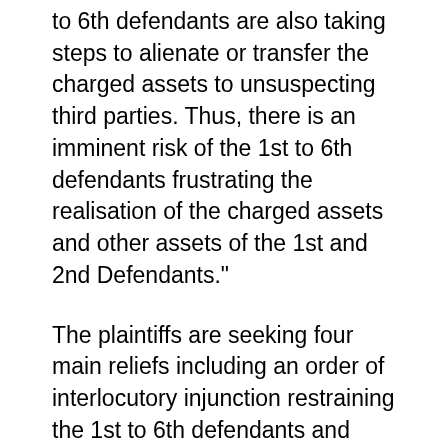to 6th defendants are also taking steps to alienate or transfer the charged assets to unsuspecting third parties. Thus, there is an imminent risk of the 1st to 6th defendants frustrating the realisation of the charged assets and other assets of the 1st and 2nd Defendants."
The plaintiffs are seeking four main reliefs including an order of interlocutory injunction restraining the 1st to 6th defendants and others including employees of the 2nd and 3rd Plaintiffs "from interfering with or otherwise obstructing or frustrating Mr. Balogun, the Receiver/Manager appointed by First Bank in the course of performance of his statutory duties over the whole assets of the